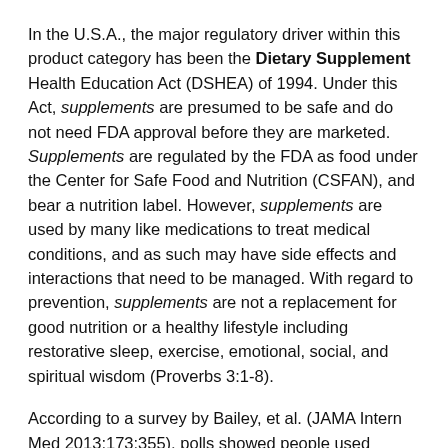In the U.S.A., the major regulatory driver within this product category has been the Dietary Supplement Health Education Act (DSHEA) of 1994. Under this Act, supplements are presumed to be safe and do not need FDA approval before they are marketed. Supplements are regulated by the FDA as food under the Center for Safe Food and Nutrition (CSFAN), and bear a nutrition label. However, supplements are used by many like medications to treat medical conditions, and as such may have side effects and interactions that need to be managed. With regard to prevention, supplements are not a replacement for good nutrition or a healthy lifestyle including restorative sleep, exercise, emotional, social, and spiritual wisdom (Proverbs 3:1-8).
According to a survey by Bailey, et al. (JAMA Intern Med 2013;173:355), polls showed people used supplements to improve their health, to improve bone density, to lower total cholesterol levels, boost immunity, or manage joint